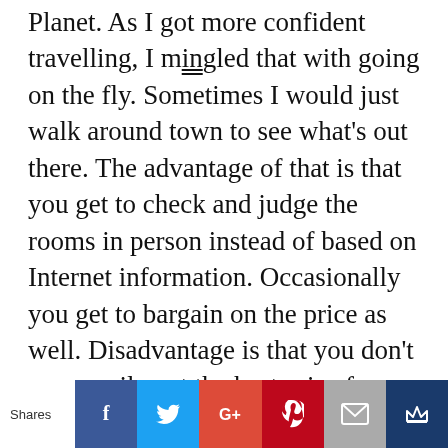Planet. As I got more confident travelling, I mingled that with going on the fly. Sometimes I would just walk around town to see what's out there. The advantage of that is that you get to check and judge the rooms in person instead of based on Internet information. Occasionally you get to bargain on the price as well. Disadvantage is that you don't necessarily get the best price for money deals, because you tend to stick to a certain area and don't want to walk too far or check more than a handful of hostels. I would switch up female dorms with mixed